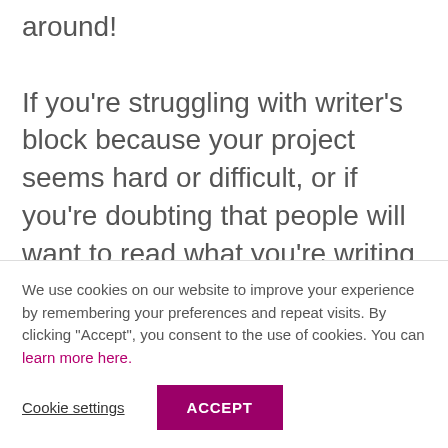around! If you're struggling with writer's block because your project seems hard or difficult, or if you're doubting that people will want to read what you're writing, don't let this stop you from writing on topics that matter deeply to you.
We use cookies on our website to improve your experience by remembering your preferences and repeat visits. By clicking "Accept", you consent to the use of cookies. You can learn more here.
Cookie settings   ACCEPT